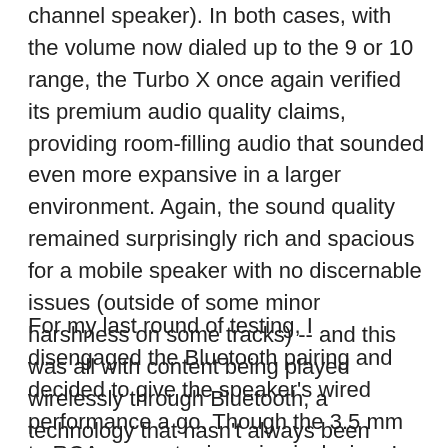channel speaker). In both cases, with the volume now dialed up to the 9 or 10 range, the Turbo X once again verified its premium audio quality claims, providing room-filling audio that sounded even more expansive in a larger environment. Again, the sound quality remained surprisingly rich and spacious for a mobile speaker with no discernable issues (outside of some minor harshness on some tracks) -- and this was all with content being played wirelessly through Bluetooth, a technology that hasn't always been known for quality audio reproduction.
For my last round of testing, I disengaged the Bluetooth pairing and decided to give the speaker's wired performance a go. Though the 3.5 mm to RCA connector is a nice inclusion, I quickly realized that I